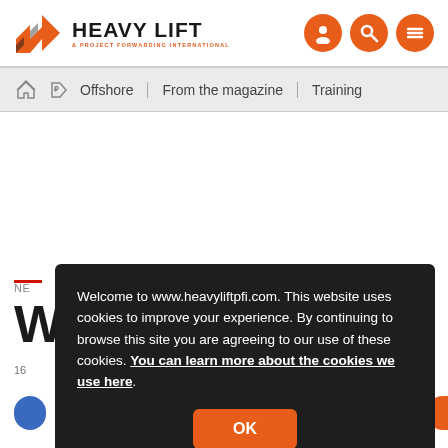HEAVY LIFT & PROJECT FORWARDING INTERNATIONAL
Offshore | From the magazine | Training
Welcome to www.heavyliftpfi.com. This website uses cookies to improve your experience. By continuing to browse this site you are agreeing to our use of these cookies. You can learn more about the cookies we use here.
OK